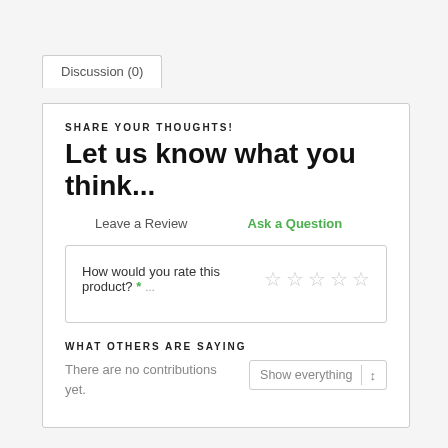Discussion (0)
SHARE YOUR THOUGHTS!
Let us know what you think...
Leave a Review    Ask a Question
How would you rate this product? *
WHAT OTHERS ARE SAYING
There are no contributions yet.
Show everything